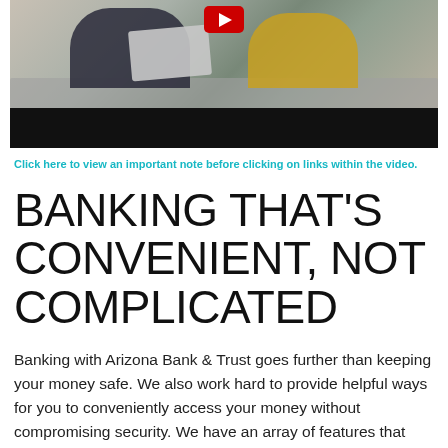[Figure (photo): Photo of two people sitting on a couch with a laptop, with a YouTube-style red play button visible at the top, followed by a black bar at the bottom of the image area.]
Click here to view an important note before clicking on links within the video.
BANKING THAT'S CONVENIENT, NOT COMPLICATED
Banking with Arizona Bank & Trust goes further than keeping your money safe. We also work hard to provide helpful ways for you to conveniently access your money without compromising security. We have an array of features that leverage the latest